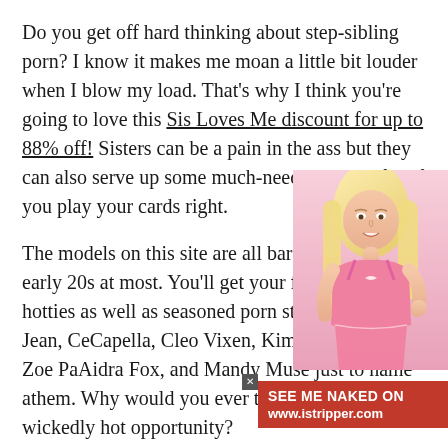Do you get off hard thinking about step-sibling porn? I know it makes me moan a little bit louder when I blow my load. That's why I think you're going to love this Sis Loves Me discount for up to 88% off! Sisters can be a pain in the ass but they can also serve up some much-needed sexual fun if you play your cards right.
The models on this site are all barely-legal or early 20s at most. You'll get your fill of amateur hotties as well as seasoned porn stars like Elsa Jean, Ce[lla] Capella, Cleo Vixen, Kimmy Granger, Zoe Pa[rker], Aidra Fox, and Mandy Muse just to name a[ll of] them. Why would you ever think of passi[ng up] a wickedly hot opportunity?
Sign up now and you'll get hundreds of [videos,] unlimited content downloads, 100% exclu[sive]
[Figure (photo): Blonde woman in pink lingerie posing]
SEE ME NAKED ON www.istripper.com